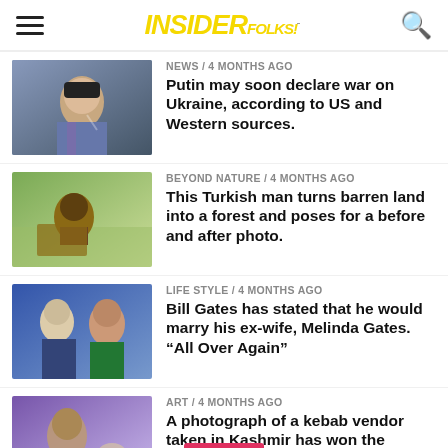INSIDER FOLKS!
NEWS / 4 months ago
Putin may soon declare war on Ukraine, according to US and Western sources.
BEYOND NATURE / 4 months ago
This Turkish man turns barren land into a forest and poses for a before and after photo.
LIFE STYLE / 4 months ago
Bill Gates has stated that he would marry his ex-wife, Melinda Gates. “All Over Again”
ART / 4 months ago
A photograph of a kebab vendor taken in Kashmir has won the International Food Photo Contest.